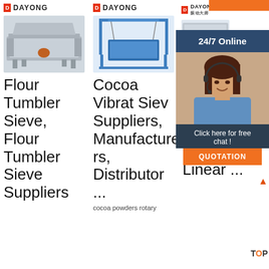[Figure (screenshot): Orange bar at top right corner]
[Figure (logo): DAYONG logo - left column]
[Figure (photo): Gray industrial vibrating sieve machine - Flour Tumbler Sieve]
Flour Tumbler Sieve, Flour Tumbler Sieve Suppliers
[Figure (logo): DAYONG logo - middle column]
[Figure (photo): Blue industrial vibrating sieve machine hanging on frame - Cocoa Vibrat Siev]
Cocoa Vibrat Siev Suppliers, Manufacturers, Distributor ...
cocoa powders rotary
[Figure (logo): DAYONG logo with Chinese characters - right column]
[Figure (photo): Industrial machine partial view - right column]
Ch... Vi... Si...Rotary Vibrating Sieve, Linear ...
[Figure (illustration): 24/7 Online customer service ad with woman wearing headset. Dark blue background. Click here for free chat! QUOTATION button. TOP badge.]